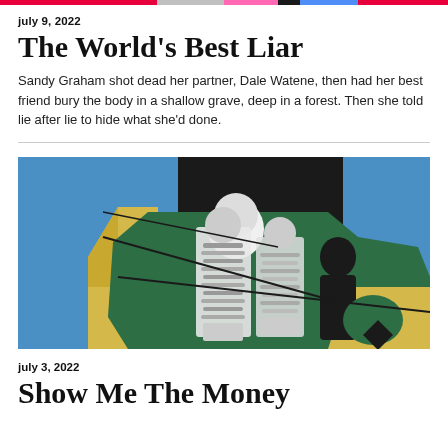july 9, 2022
The World's Best Liar
Sandy Graham shot dead her partner, Dale Watene, then had her best friend bury the body in a shallow grave, deep in a forest. Then she told lie after lie to hide what she'd done.
[Figure (illustration): Collage illustration with blue background featuring abstract geometric shapes in yellow and green, with black-and-white photographic figures of people overlaid, and diagonal black lines crossing the composition. A dark diamond shape appears in the lower right.]
july 3, 2022
Show Me The Money